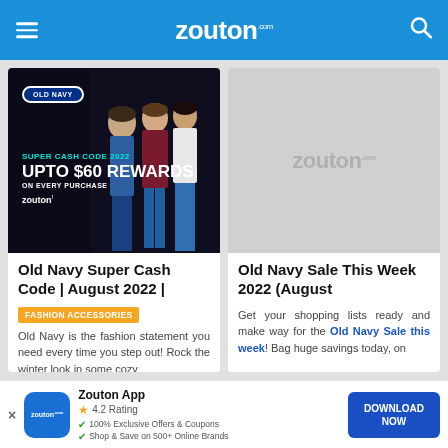zouton.com
[Figure (photo): Old Navy Super Cash Code 2022 promotional banner with people in casual clothing and text: SUPER CASH CODE 2022, UPTO $60 REWARDS ON EVERY PURCHASE, zouton]
Old Navy Super Cash Code | August 2022 |
FASHION ACCESSORIES
Old Navy is the fashion statement you need every time you step out! Rock the winter look in some cozy
[Figure (logo): Zouton.com placeholder/watermark logo on grey background]
Old Navy Sale This Week 2022 (August
Get your shopping lists ready and make way for the Old Navy Sale this week! Bag huge savings today, on
Zouton App 4.2 Rating 100% Exclusive Offers & Coupons Shop & Save on 500+ Online Brands DOWNLOAD NOW